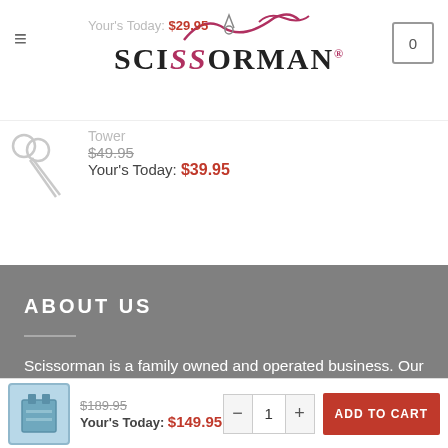Scissorman - navigation header with logo and cart
Your's Today: $29.95
Tower
$49.95
Your's Today: $39.95
ABOUT US
Scissorman is a family owned and operated business.  Our range of scissors, cutting tools, magnifying lamps and accessories offers high quality products at very competitive prices.
[Figure (illustration): Decorative scissors cutting a pink/red ribbon against grey background]
$189.95
Your's Today: $149.95
- 1 + ADD TO CART